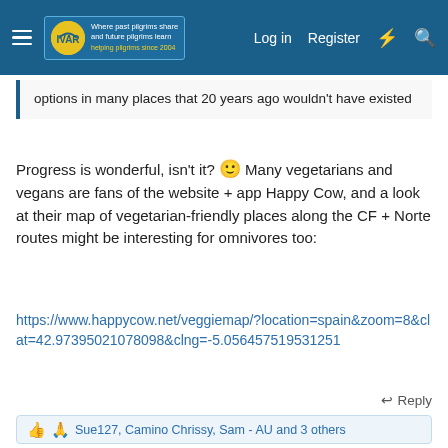The Camino de Santiago forum — Log in  Register
options in many places that 20 years ago wouldn't have existed
Progress is wonderful, isn't it? 🙂 Many vegetarians and vegans are fans of the website + app Happy Cow, and a look at their map of vegetarian-friendly places along the CF + Norte routes might be interesting for omnivores too:
https://www.happycow.net/veggiemap/?location=spain&zoom=8&clat=42.97395021078098&clng=-5.056457519531251
↩ Reply
Sue127, Camino Chrissy, Sam - AU and 3 others